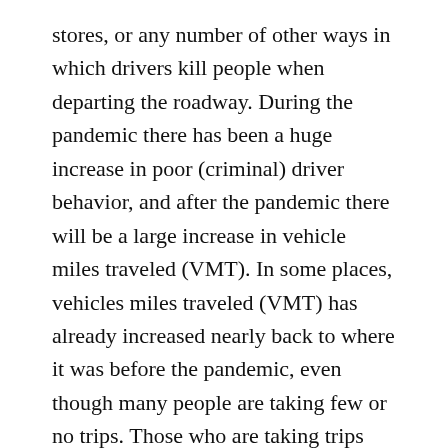stores, or any number of other ways in which drivers kill people when departing the roadway. During the pandemic there has been a huge increase in poor (criminal) driver behavior, and after the pandemic there will be a large increase in vehicle miles traveled (VMT). In some places, vehicles miles traveled (VMT) has already increased nearly back to where it was before the pandemic, even though many people are taking few or no trips. Those who are taking trips have increased their motor vehicle use. This does not bode well. NHTSA does not directly contribute to this problem, but it has had a central role in absolving drivers of responsibility for crashes that kill and maim walkers and bicyclists, and for that, I hold them